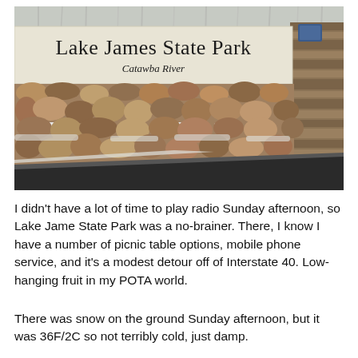[Figure (photo): Entrance sign for Lake James State Park, Catawba River. A stone wall with rounded river rocks is visible, topped with a white rectangular sign bearing the text 'Lake James State Park' and 'Catawba River'. Snow is visible on the ground and a dark paved road curves in the foreground. Bare winter trees in the background.]
I didn't have a lot of time to play radio Sunday afternoon, so Lake Jame State Park was a no-brainer. There, I know I have a number of picnic table options, mobile phone service, and it's a modest detour off of Interstate 40. Low-hanging fruit in my POTA world.
There was snow on the ground Sunday afternoon, but it was 36F/2C so not terribly cold, just damp.